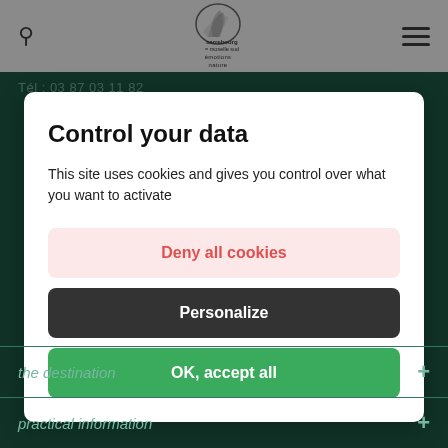sarrebourg moselle sud emotions nature
Tél : 03 87 03 11 82
Control your data
This site uses cookies and gives you control over what you want to activate
Deny all cookies
Personalize
OK, accept all
the destination
practical information